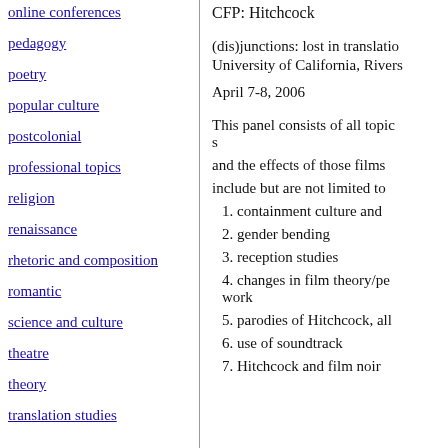online conferences
pedagogy
poetry
popular culture
postcolonial
professional topics
religion
renaissance
rhetoric and composition
romantic
science and culture
theatre
theory
translation studies
CFP: Hitchcock
(dis)junctions: lost in translatio
University of California, Rivers
April 7-8, 2006
This panel consists of all topic
s
and the effects of those films
include but are not limited to
1. containment culture and
2. gender bending
3. reception studies
4. changes in film theory/pe
work
5. parodies of Hitchcock, all
6. use of soundtrack
7. Hitchcock and film noir